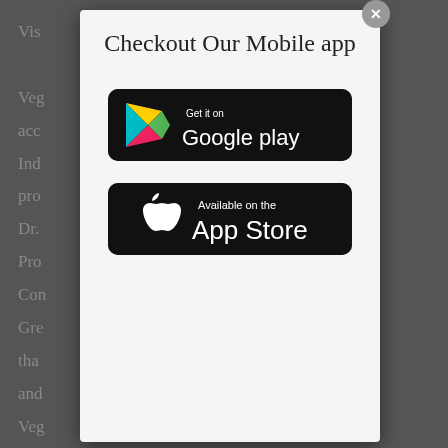Checkout Our Mobile app
[Figure (logo): Google Play store download button — black rounded rectangle with colorful Play triangle icon and text 'Get it on Google play']
[Figure (logo): Apple App Store download button — black rounded rectangle with Apple logo icon and text 'Available on the App Store']